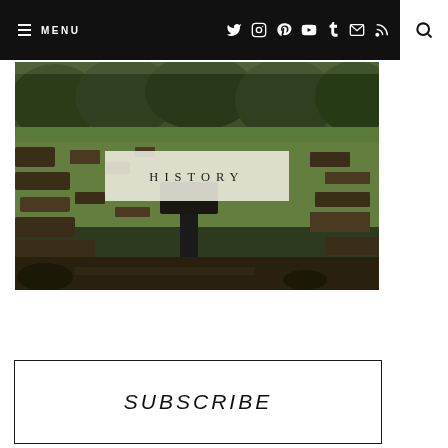MENU [navigation icons: Twitter, Instagram, Pinterest, YouTube, Tumblr, Mail, RSS] [Search]
[Figure (photo): Outdoor photo of an archaeological site with stone ruins surrounded by green grass, with trees in the background and a dark informational sign/kiosk in the foreground center. Overlaid with a semi-transparent box containing the word HISTORY.]
HISTORY
SUBSCRIBE